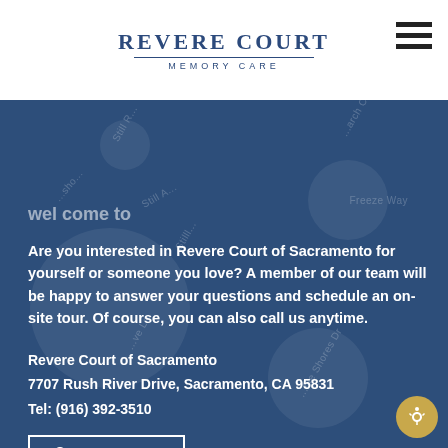[Figure (logo): Revere Court Memory Care logo with text and underline]
WEL COME TO
Are you interested in Revere Court of Sacramento for yourself or someone you love? A member of our team will be happy to answer your questions and schedule an on-site tour. Of course, you can also call us anytime.
Revere Court of Sacramento
7707 Rush River Drive, Sacramento, CA 95831
Tel: (916) 392-3510
LOCATE US